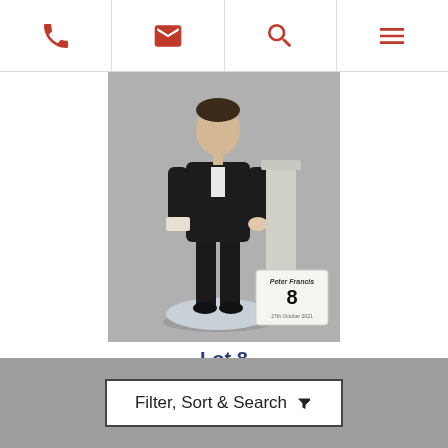Navigation bar with phone, email, search, and menu icons
[Figure (photo): Royal Doulton bone china figurine of a man in black formal attire standing on a base, with a Peter Francis auction lot label showing number 8 and date 27th October 2021]
Lot 8
Royal Doulton bone china figurine 'Ritz ...
Filter, Sort & Search